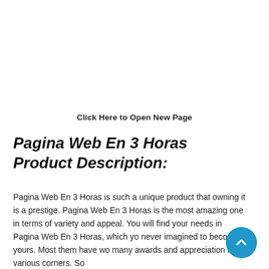Click Here to Open New Page
Pagina Web En 3 Horas Product Description:
Pagina Web En 3 Horas is such a unique product that owning it is a prestige. Pagina Web En 3 Horas is the most amazing one in terms of variety and appeal. You will find your needs in Pagina Web En 3 Horas, which you never imagined to become yours. Most them have won many awards and appreciation from various corners. So